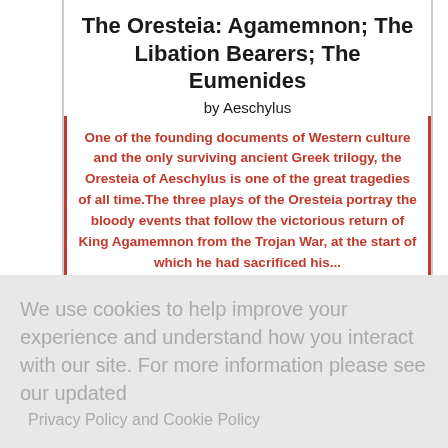The Oresteia: Agamemnon; The Libation Bearers; The Eumenides by Aeschylus
One of the founding documents of Western culture and the only surviving ancient Greek trilogy, the Oresteia of Aeschylus is one of the great tragedies of all time.The three plays of the Oresteia portray the bloody events that follow the victorious return of King Agamemnon from the Trojan War, at the start of which he had sacrificed his...
We use cookies to help improve your experience and understand how you interact with our site. For more information please see our updated
Privacy Policy and Cookie Policy
Don't show this again